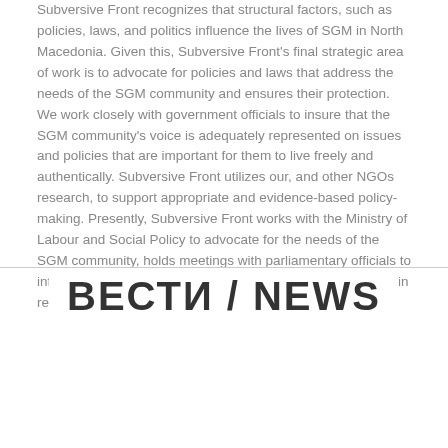Subversive Front recognizes that structural factors, such as policies, laws, and politics influence the lives of SGM in North Macedonia. Given this, Subversive Front's final strategic area of work is to advocate for policies and laws that address the needs of the SGM community and ensures their protection. We work closely with government officials to insure that the SGM community's voice is adequately represented on issues and policies that are important for them to live freely and authentically. Subversive Front utilizes our, and other NGOs research, to support appropriate and evidence-based policy-making. Presently, Subversive Front works with the Ministry of Labour and Social Policy to advocate for the needs of the SGM community, holds meetings with parliamentary officials to inform them about SGM community issues, and participates in relevant policy-
ВЕСТИ / NEWS